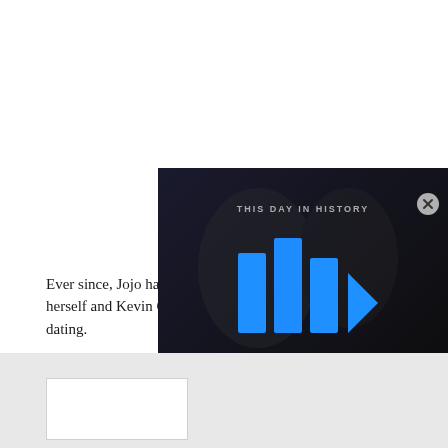Ever since, Jojo has be... herself and Kevin Gate... dating.
[Figure (screenshot): Dark video player overlay showing 'THIS DAY IN HISTORY' with blue play button icons and a close (X) button]